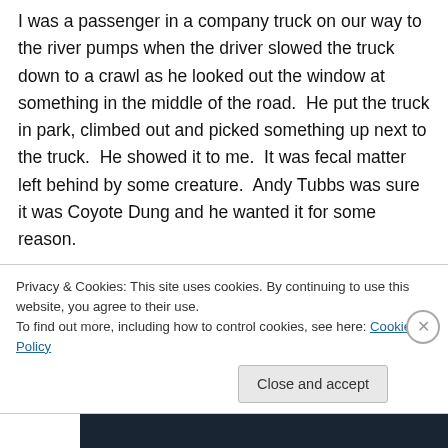I was a passenger in a company truck on our way to the river pumps when the driver slowed the truck down to a crawl as he looked out the window at something in the middle of the road.  He put the truck in park, climbed out and picked something up next to the truck.  He showed it to me.  It was fecal matter left behind by some creature.  Andy Tubbs was sure it was Coyote Dung and he wanted it for some reason.
The True Power Plant Electricians, Andy Tubbs and Ben Davis were the “fearless Coyote Hunters”, who were on a constant trial for Coyotes. This alone was the reason...
Privacy & Cookies: This site uses cookies. By continuing to use this website, you agree to their use.
To find out more, including how to control cookies, see here: Cookie Policy